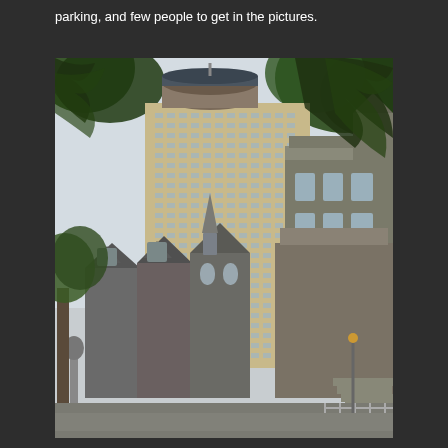parking, and few people to get in the pictures.
[Figure (photo): Street-level photograph showing a contrast between historic Victorian-era stone rowhouses and a large modern hotel tower (with a distinctive cylindrical top) in the background, framed by tree branches. The scene appears to be in a Canadian city, likely Ottawa or Quebec City.]